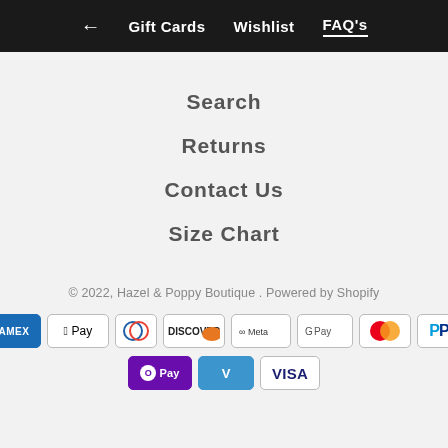← Gift Cards  Wishlist  FAQ's
Search
Returns
Contact Us
Size Chart
© 2022, Hazel & Poppy Boutique . Powered by Shopify
[Figure (other): Payment method icons: American Express, Apple Pay, Diners Club, Discover, Meta Pay, Google Pay, Mastercard, PayPal, OPay, Venmo, Visa]